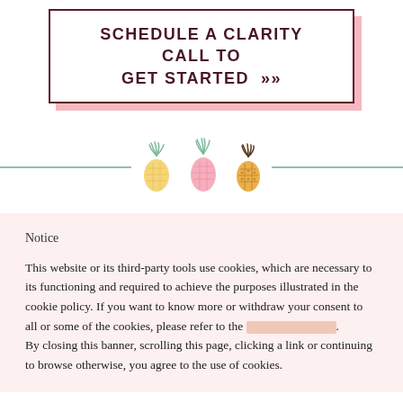SCHEDULE A CLARITY CALL TO GET STARTED »
[Figure (illustration): Three illustrated pineapples in a row — left is yellow with green top, middle is pink with green top, right is gold/orange with dark brown top — centered between two teal horizontal divider lines]
Notice
This website or its third-party tools use cookies, which are necessary to its functioning and required to achieve the purposes illustrated in the cookie policy. If you want to know more or withdraw your consent to all or some of the cookies, please refer to the cookie policy. By closing this banner, scrolling this page, clicking a link or continuing to browse otherwise, you agree to the use of cookies.